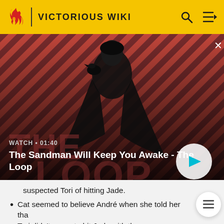VICTORIOUS WIKI
[Figure (screenshot): Video thumbnail showing a dark-clad figure with a raven on shoulder against a red and black diagonal stripe background. Text overlay: WATCH • 01:40 / The Sandman Will Keep You Awake - The Loop]
WATCH • 01:40
The Sandman Will Keep You Awake - The Loop
suspected Tori of hitting Jade.
Cat seemed to believe André when she told her that Tori didn't mean to hit Jade with the cane.
The Birthweek Song
Cat rests her arm and head on Tori's shoulder whilst